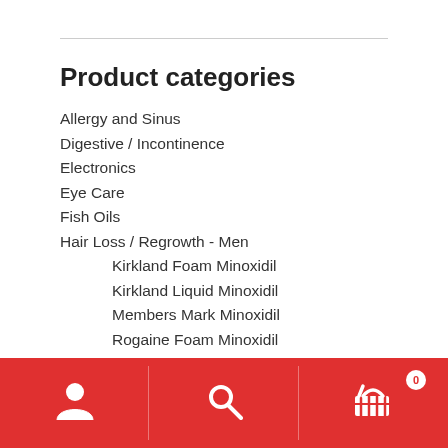Product categories
Allergy and Sinus
Digestive / Incontinence
Electronics
Eye Care
Fish Oils
Hair Loss / Regrowth - Men
Kirkland Foam Minoxidil
Kirkland Liquid Minoxidil
Members Mark Minoxidil
Rogaine Foam Minoxidil
Hair Loss / Regrowth - Women
Jewelry Cleaners
Joint Care